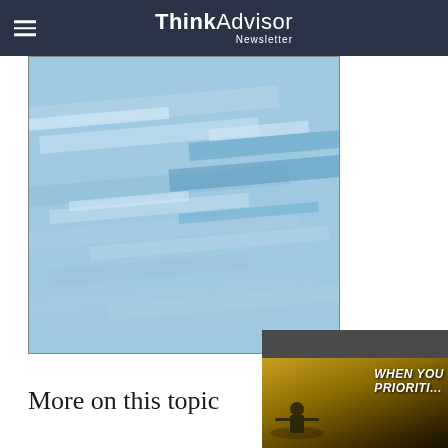ThinkAdvisor Newsletter
[Figure (illustration): Abstract blue geometric pattern with horizontal rectangular bars of varying shades of blue overlapping on a light blue background]
More on this topic
[Figure (photo): Advertisement banner showing a person kayaking on water at sunset with text 'WHEN YOU PRIORITI...']